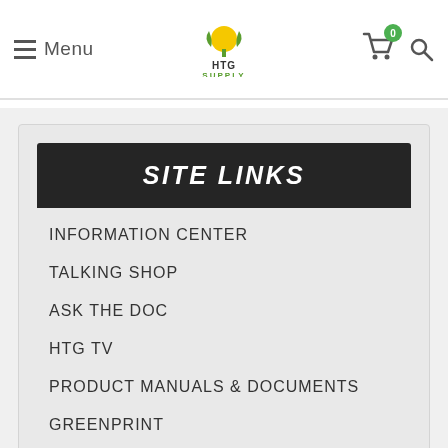Menu | HTG Supply | Cart (0) | Search
SITE LINKS
INFORMATION CENTER
TALKING SHOP
ASK THE DOC
HTG TV
PRODUCT MANUALS & DOCUMENTS
GREENPRINT